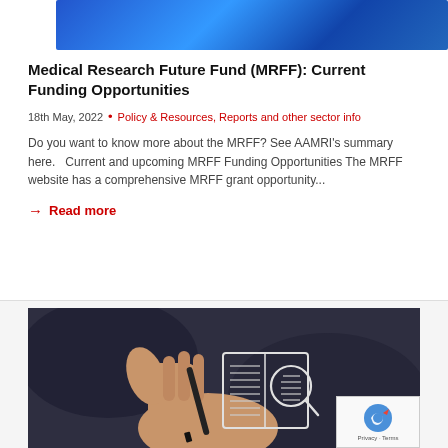[Figure (photo): Blue gradient hero banner image at the top of the article card]
Medical Research Future Fund (MRFF): Current Funding Opportunities
18th May, 2022  •  Policy & Resources, Reports and other sector info
Do you want to know more about the MRFF? See AAMRI's summary here.   Current and upcoming MRFF Funding Opportunities The MRFF website has a comprehensive MRFF grant opportunity...
→ Read more
[Figure (photo): A hand holding a pen over an open book with a magnifying glass icon drawn on it, dark background]